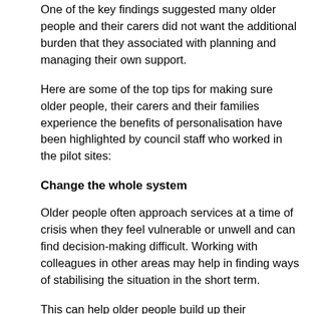One of the key findings suggested many older people and their carers did not want the additional burden that they associated with planning and managing their own support.
Here are some of the top tips for making sure older people, their carers and their families experience the benefits of personalisation have been highlighted by council staff who worked in the pilot sites:
Change the whole system
Older people often approach services at a time of crisis when they feel vulnerable or unwell and can find decision-making difficult. Working with colleagues in other areas may help in finding ways of stabilising the situation in the short term.
This can help older people build up their confidence to think about the longer term support they need. For example, Barking and Dagenham are working with health colleagues to contact people before they reach crisis point. A joint